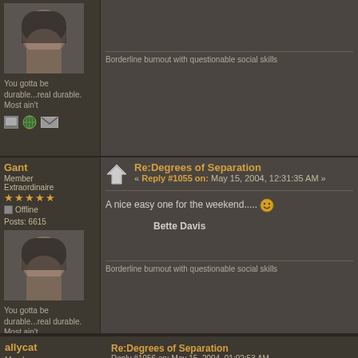[Figure (photo): Avatar photo of a person wearing a helmet - top post]
You gotta be durable...real durable. Most ain't
[Figure (other): Forum icons: message, globe, email]
Borderline burnout with questionable social skills
Gant
Member Extraordinaire
Offline
Posts: 6615
Re:Degrees of Separation
« Reply #1055 on: May 15, 2004, 12:31:35 AM »
A nice easy one for the weekend.....
Bette Davis
[Figure (photo): Avatar photo of a person wearing a helmet - bottom post]
You gotta be durable...real durable. Most ain't
[Figure (other): Forum icons: message, globe, email]
Borderline burnout with questionable social skills
allycat
Member
Re:Degrees of Separation
Reply #1056 on: May 15, 2004, 01:02:53 AM